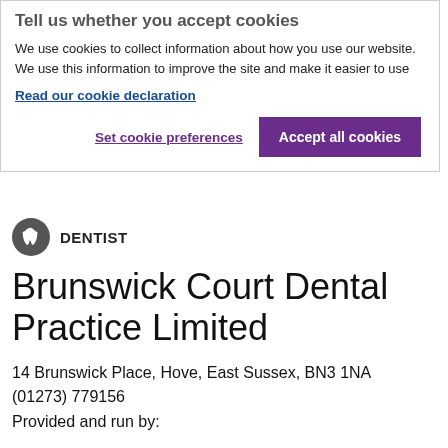Tell us whether you accept cookies
We use cookies to collect information about how you use our website. We use this information to improve the site and make it easier to use
Read our cookie declaration
Set cookie preferences
Accept all cookies
[Figure (logo): Dentist icon - circular grey badge with tooth symbol]
DENTIST
Brunswick Court Dental Practice Limited
14 Brunswick Place, Hove, East Sussex, BN3 1NA   (01273) 779156
Provided and run by: